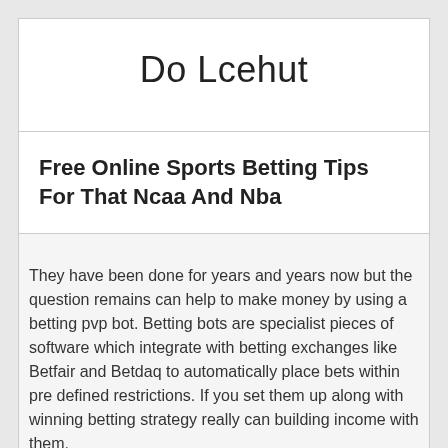Do Lcehut
Free Online Sports Betting Tips For That Ncaa And Nba
They have been done for years and years now but the question remains can help to make money by using a betting pvp bot. Betting bots are specialist pieces of software which integrate with betting exchanges like Betfair and Betdaq to automatically place bets within pre defined restrictions. If you set them up along with winning betting strategy really can building income with them.